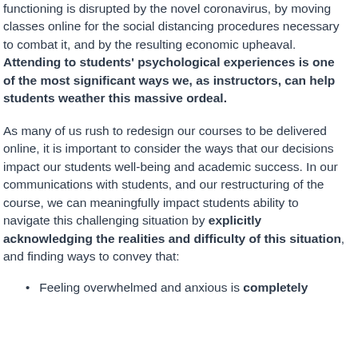functioning is disrupted by the novel coronavirus, by moving classes online for the social distancing procedures necessary to combat it, and by the resulting economic upheaval. Attending to students' psychological experiences is one of the most significant ways we, as instructors, can help students weather this massive ordeal.
As many of us rush to redesign our courses to be delivered online, it is important to consider the ways that our decisions impact our students well-being and academic success. In our communications with students, and our restructuring of the course, we can meaningfully impact students ability to navigate this challenging situation by explicitly acknowledging the realities and difficulty of this situation, and finding ways to convey that:
Feeling overwhelmed and anxious is completely